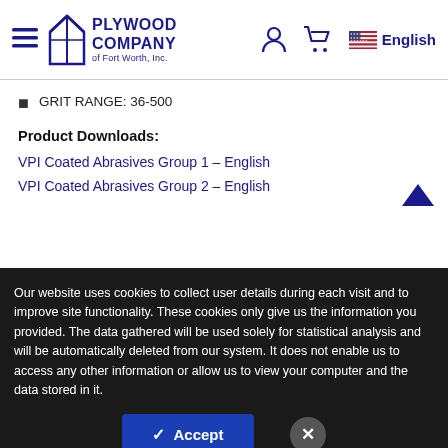Plywood Company of Fort Worth, Inc. — English
GRIT RANGE: 36-500
Product Downloads:
VPI Coated Abrasives Group 1 – English
VPI Coated Abrasives Group 2 – English
Our website uses cookies to collect user details during each visit and to improve site functionality. These cookies only give us the information you provided. The data gathered will be used solely for statistical analysis and will be automatically deleted from our system. It does not enable us to access any other information or allow us to view your computer and the data stored in it.